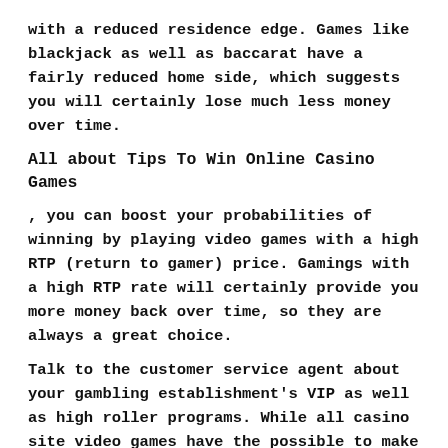with a reduced residence edge. Games like blackjack as well as baccarat have a fairly reduced home side, which suggests you will certainly lose much less money over time.
All about Tips To Win Online Casino Games
, you can boost your probabilities of winning by playing video games with a high RTP (return to gamer) price. Gamings with a high RTP rate will certainly provide you more money back over time, so they are always a great choice.
Talk to the customer service agent about your gambling establishment's VIP as well as high roller programs. While all casino site video games have the possible to make you some money, some offer a lot larger jackpots than others.